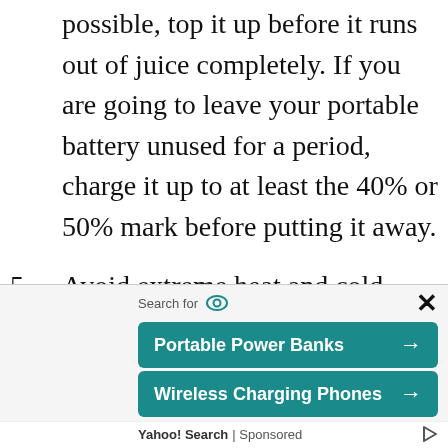possible, top it up before it runs out of juice completely. If you are going to leave your portable battery unused for a period, charge it up to at least the 40% or 50% mark before putting it away.
5. Avoid extreme heat and cold environments.
6. If you want to charge your smartphone with the power bank, do not plug the power bank itself into a power outlet at the same time.
[Figure (screenshot): Advertisement overlay showing a Yahoo Search sponsored ad with two teal buttons: 'Portable Power Banks' and 'Wireless Charging Phones', with a close X button, eye icon, and Yahoo Search | Sponsored label at bottom.]